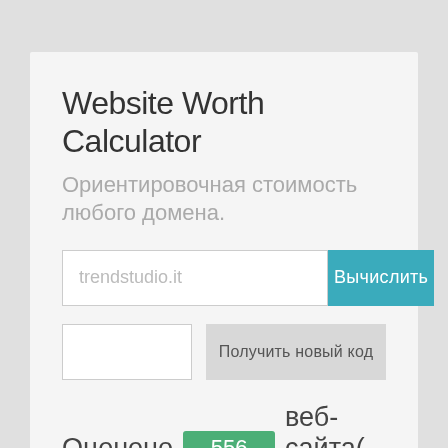Website Worth Calculator
Ориентировочная стоимость любого домена.
trendstudio.it
Вычислить
Получить новый код
Оценено 556 веб-сайта(-ов).